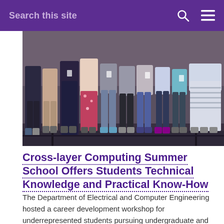Search this site
[Figure (photo): Group of students and participants standing on steps, photographed from roughly waist/knee level down, showing varied clothing and shoes.]
Cross-layer Computing Summer School Offers Students Technical Knowledge and Practical Know-How
The Department of Electrical and Computer Engineering hosted a career development workshop for underrepresented students pursuing undergraduate and graduate degrees in computer engineering, electrical engineering, and computer science.